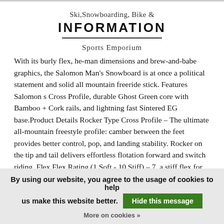Ski,Snowboarding, Bike &
INFORMATION
Sports Emporium
With its burly flex, he-man dimensions and brew-and-babe graphics, the Salomon Man's Snowboard is at once a political statement and solid all mountain freeride stick. Features Salomon s Cross Profile, durable Ghost Green core with Bamboo + Cork rails, and lightning fast Sintered EG base.Product Details Rocker Type Cross Profile – The ultimate all-mountain freestyle profile: camber between the feet provides better control, pop, and landing stability. Rocker on the tip and tail delivers effortless flotation forward and switch riding. Flex Flex Rating (1 Soft - 10 Stiff) – 7, a stiff flex for dependable stability
By using our website, you agree to the usage of cookies to help us make this website better. Hide this message More on cookies »